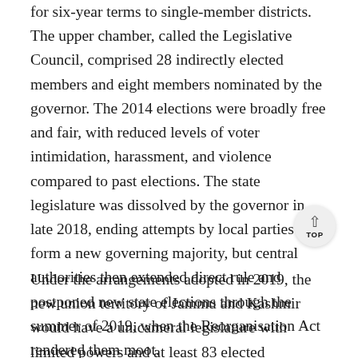for six-year terms to single-member districts. The upper chamber, called the Legislative Council, comprised 28 indirectly elected members and eight members nominated by the governor. The 2014 elections were broadly free and fair, with reduced levels of voter intimidation, harassment, and violence compared to past elections. The state legislature was dissolved by the governor in late 2018, ending attempts by local parties to form a new governing majority, but central authorities then extended direct rule and postponed new state elections through the summer of 2019, when the Reorganisation Act rendered them moot.
Under the arrangements adopted in 2019, the new union territory of Jammu and Kashmir would have a unicameral legislature with limited powers and at least 83 elected members. (As in the old assembly, another 24 seats associated with constituencies in Pakistani-controlled Kashmir would be left vacant.) However, elections